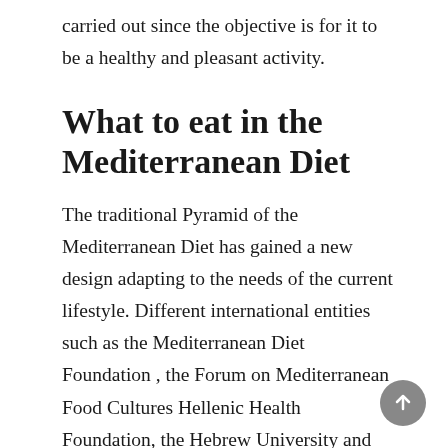carried out since the objective is for it to be a healthy and pleasant activity.
What to eat in the Mediterranean Diet
The traditional Pyramid of the Mediterranean Diet has gained a new design adapting to the needs of the current lifestyle. Different international entities such as the Mediterranean Diet Foundation , the Forum on Mediterranean Food Cultures Hellenic Health Foundation, the Hebrew University and the Ciiscam (Centro Interuniversitario Internazionales di Studi sulle Culture Alimentari Mediterranee), among others, collaborated with this new design of